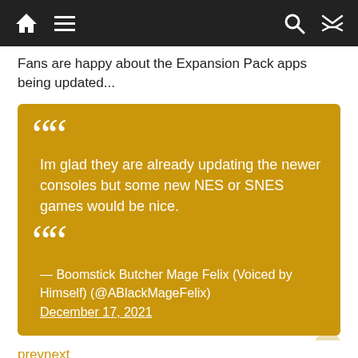Home Menu Search Shuffle
Fans are happy about the Expansion Pack apps being updated...
Im glad they are already updating the newer consoles but some new NES or SNES games would be nice. — Boomstick Butcher Mage Felix (Voiced by Himself) (@ABlackMageFelix) December 17, 2021
prevnext
...but the SNES and NES could use some love, too.